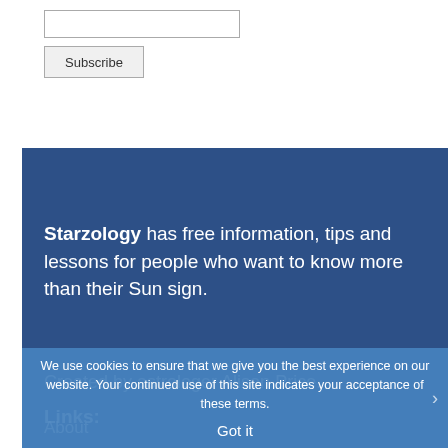[input field]
Subscribe
Starzology has free information, tips and lessons for people who want to know more than their Sun sign.
Created by astrologer Alison Price.
Links:
About
We use cookies to ensure that we give you the best experience on our website. Your continued use of this site indicates your acceptance of these terms.
Got it